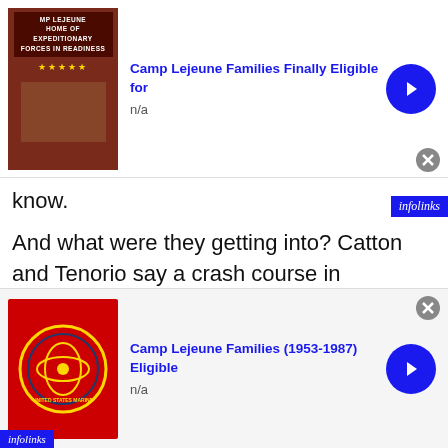[Figure (screenshot): Top advertisement banner: Camp Lejeune Families Finally Eligible for, with thumbnail image of military base sign, n/a text, blue arrow button, and close button]
know.
And what were they getting into? Catton and Tenorio say a crash course in Scientology.
Patients are called “students.” And they study a series of eight books based on the writings of Scientology founder L. Ron Hubbard.
(L. Ron Hubbard film clip) “They can confront their own problems and solve their own problems and [lifting themselves up by their own bootstraps.”
[Figure (screenshot): Bottom advertisement banner: Camp Lejeune Families (1953-1987) Eligible, with USMC emblem thumbnail, n/a text, blue arrow button, and close button]